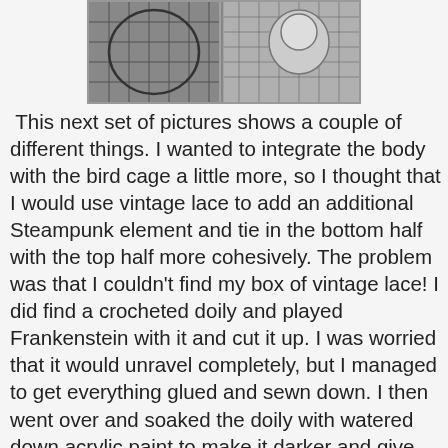[Figure (photo): Photo of a wire bird cage sculpture with a bird figure, black wire mesh construction]
This next set of pictures shows a couple of different things.  I wanted to integrate the body with the bird cage a little more, so I thought that I would use vintage lace to add an additional Steampunk element and tie in the bottom half with the top half more cohesively.  The problem was that I couldn't find my box of vintage lace!  I did find a crocheted doily and played Frankenstein with it and cut it up.  I was worried that it would unravel completely, but I managed to get everything glued and sewn down.  I then went over and soaked the doily with watered down acrylic paint to make it darker and give the lacy doily more structure.  I think it looks almost like wrought iron.
This set of pictures also shows the holes I drilled on the head.  I had this idea that I would root the sculpture myself with some felting roving I had on-hand.  I played around with it and came to the conclusion that it simply wouldn't work.  So I quickly ordered a few different doll wigs online.  I didn't really want to master wig making for this project that wasn't